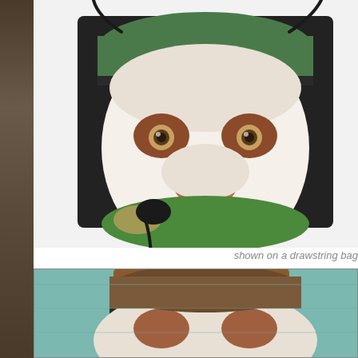[Figure (photo): A drawstring bag featuring a painted portrait of a white pit bull dog wearing a green hat, with brown markings around its eyes and nose. The bag is black with drawstring cords visible at the top. The dog's face takes up most of the bag surface. The background of the product shot is light grey/white.]
shown on a drawstring bag
[Figure (photo): A close-up of an original painting on canvas showing a white pit bull dog wearing a green/brown hat. The painting has a teal/green background and shows thick brushwork texture. The dog's face is partially visible from the top, showing its forehead, hat, and the top portion of its face with brown markings.]